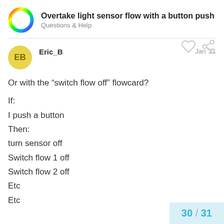Overtake light sensor flow with a button push — Questions & Help
Or with the “switch flow off” flowcard?
If:
I push a button
Then:
turn sensor off
Switch flow 1 off
Switch flow 2 off
Etc
Etc
30 / 31